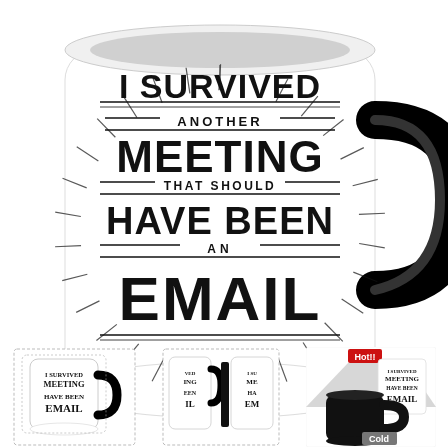[Figure (photo): Large product photo of a white ceramic mug with a black handle. The mug has text printed on it: 'I SURVIVED ANOTHER MEETING THAT SHOULD HAVE BEEN AN EMAIL' in bold decorative typography with sunburst design.]
[Figure (photo): Small thumbnail of the same mug from front angle showing the text design.]
[Figure (photo): Small thumbnail of the mug shown from multiple angles side by side.]
[Figure (photo): Small thumbnail showing the mug in both hot (color-changing, black) and cold (white with text) states with Hot and Cold labels.]